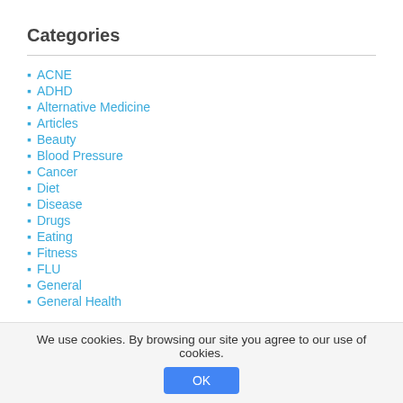Categories
ACNE
ADHD
Alternative Medicine
Articles
Beauty
Blood Pressure
Cancer
Diet
Disease
Drugs
Eating
Fitness
FLU
General
General Health
We use cookies. By browsing our site you agree to our use of cookies.